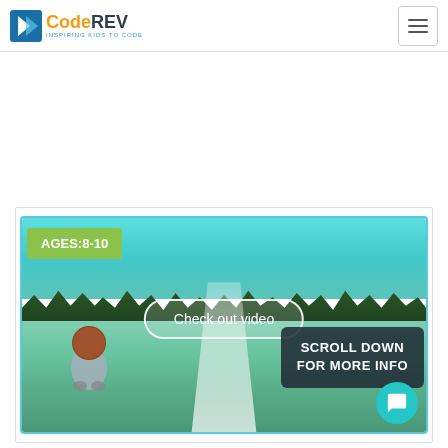CodeREV - Inspiring Kids to Code
[Figure (screenshot): Video thumbnail showing a 3D game scene with a character on a snowy/green terrain with trees in the background. Overlays include an 'AGES:8-10' green badge, a 'Check out video' button, and a 'SCROLL DOWN FOR MORE INFO' dark box. A teal chat bubble icon is in the bottom right.]